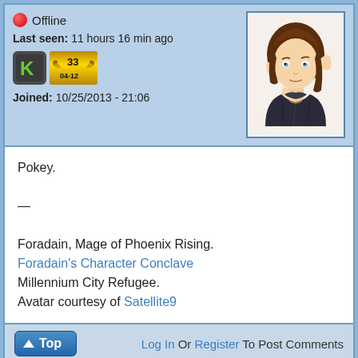Offline
Last seen: 11 hours 16 min ago
[Figure (illustration): Anime-style elf character with brown hair, pointed ears, wearing a dark jacket]
Joined: 10/25/2013 - 21:06
Pokey.

—

Foradain, Mage of Phoenix Rising.
Foradain's Character Conclave
Millennium City Refugee.
Avatar courtesy of Satellite9
Top   Log In Or Register To Post Comments